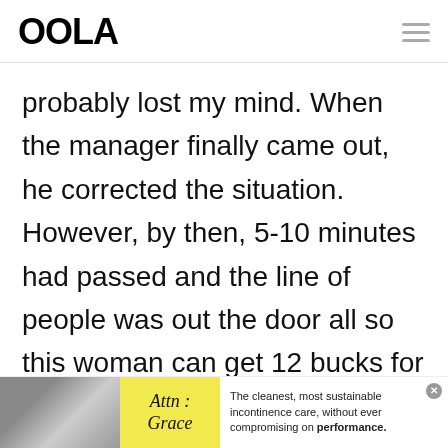OOLA
probably lost my mind. When the manager finally came out, he corrected the situation. However, by then, 5-10 minutes had passed and the line of people was out the door all so this woman can get 12 bucks for a dumb mistake.
[Figure (infographic): Advertisement banner at the bottom: image of a product on left with yellow 'Attn: Grace' label, and text reading 'The cleanest, most sustainable incontinence care, without ever compromising on performance.']